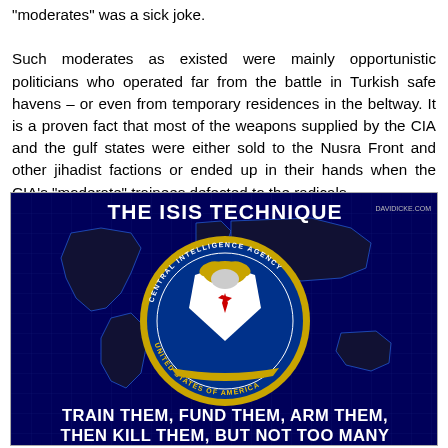"moderates" was a sick joke. Such moderates as existed were mainly opportunistic politicians who operated far from the battle in Turkish safe havens – or even from temporary residences in the beltway. It is a proven fact that most of the weapons supplied by the CIA and the gulf states were either sold to the Nusra Front and other jihadist factions or ended up in their hands when the CIA's "moderate" trainees defected to the radicals.
[Figure (infographic): Infographic titled 'THE ISIS TECHNIQUE' with davidicke.com watermark, showing a dark blue world map background with the CIA seal (Central Intelligence Agency, United States of America) in the center. Bottom text reads: TRAIN THEM, FUND THEM, ARM THEM, THEN KILL THEM, BUT NOT TOO MANY]